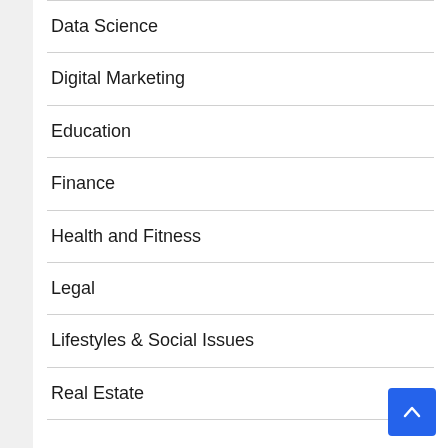Data Science
Digital Marketing
Education
Finance
Health and Fitness
Legal
Lifestyles & Social Issues
Real Estate